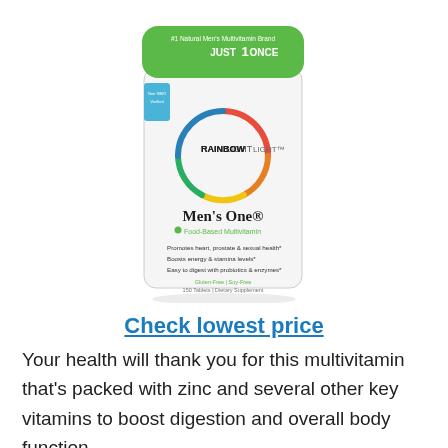[Figure (photo): Rainbow Light Men's One Food-Based Multivitamin supplement bottle with green cap, rainbow circle logo, and product details on white label.]
Check lowest price
Your health will thank you for this multivitamin that's packed with zinc and several other key vitamins to boost digestion and overall body function.